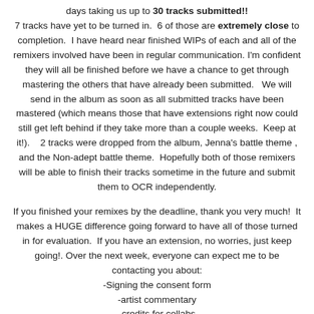days taking us up to 30 tracks submitted!! 7 tracks have yet to be turned in. 6 of those are extremely close to completion. I have heard near finished WIPs of each and all of the remixers involved have been in regular communication. I'm confident they will all be finished before we have a chance to get through mastering the others that have already been submitted. We will send in the album as soon as all submitted tracks have been mastered (which means those that have extensions right now could still get left behind if they take more than a couple weeks. Keep at it!). 2 tracks were dropped from the album, Jenna's battle theme , and the Non-adept battle theme. Hopefully both of those remixers will be able to finish their tracks sometime in the future and submit them to OCR independently.
If you finished your remixes by the deadline, thank you very much! It makes a HUGE difference going forward to have all of those turned in for evaluation. If you have an extension, no worries, just keep going!. Over the next week, everyone can expect me to be contacting you about:
-Signing the consent form
-artist commentary
-credits for collabs